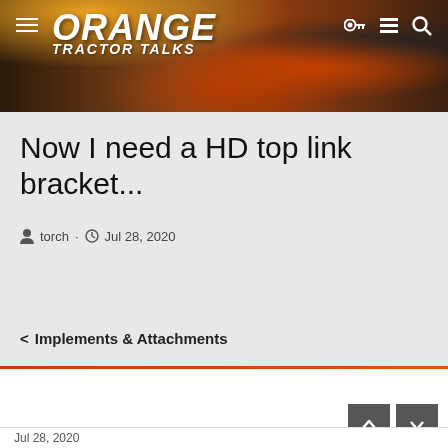[Figure (screenshot): Orange Tractor Talks website header banner with logo and tractor photo background]
Now I need a HD top link bracket...
torch · Jul 28, 2020
< Implements & Attachments
torch
Well-known member
Equipment
B7100HSD, B2789, B2550, B4672, RC54-71B, 48" cultivator, homemade FEL and Cab